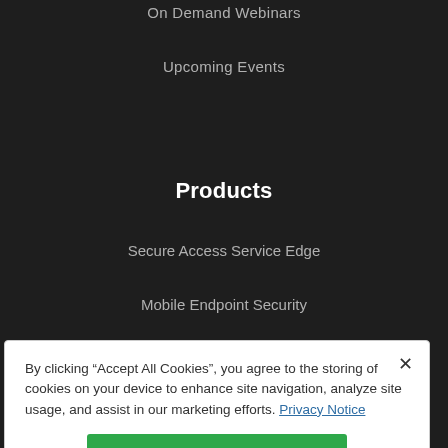On Demand Webinars
Upcoming Events
Products
Secure Access Service Edge
Mobile Endpoint Security
By clicking "Accept All Cookies", you agree to the storing of cookies on your device to enhance site navigation, analyze site usage, and assist in our marketing efforts. Privacy Notice
Accept All Cookies
Cookies Settings